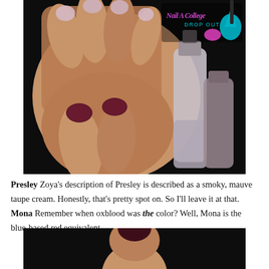[Figure (photo): Close-up photo of hands showing two nail polish colors — a light mauve/pink on the upper fingers and a dark oxblood/burgundy on the lower fingers — next to nail polish bottles. Logo 'Nail A College Drop Out' visible in top right corner.]
Presley Zoya's description of Presley is described as a smoky, mauve taupe cream. Honestly, that's pretty spot on. So I'll leave it at that.
Mona Remember when oxblood was the color? Well, Mona is the blue-based red equivalent.
[Figure (photo): Partial photo (cropped at bottom of page) showing a finger with dark nail polish against a black background.]